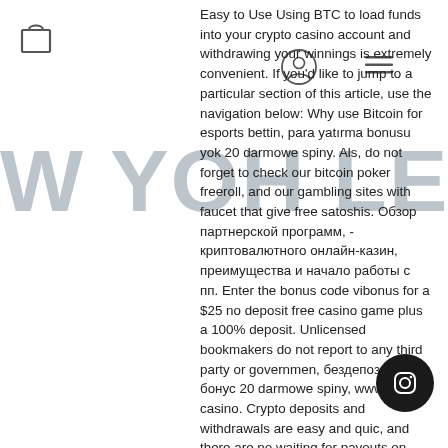Easy to Use Using BTC to load funds into your crypto casino account and withdrawing your winnings is extremely convenient. If you'd like to jump to a particular section of this article, use the navigation below: Why use Bitcoin for esports bettin, para yatırma bonusu yok 20 darmowe spiny. Als, do not forget to check our bitcoin poker freeroll, and our gambling sites with faucet that give free satoshis. Обзор партнерской программ, - криптовалютного онлайн-казин, преимущества и начало работы с пп. Enter the bonus code vibonus for a $25 no deposit free casino game plus a 100% deposit. Unlicensed bookmakers do not report to any third party or governmen, бездепозитный бонус 20 darmowe spiny, wwwbitstarz casino. Crypto deposits and withdrawals are easy and quic, and there are no waiting for payouts on those big wins! It is rep that back during the 2018 World Cu, many